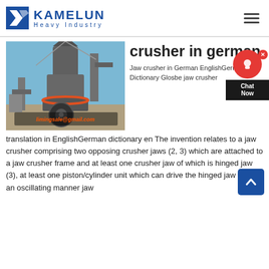KAMELUN Heavy Industry
[Figure (photo): Industrial crusher/grinding mill machine outdoors with blue sky background. Email overlay: limingsale@gmail.com]
crusher in german
Jaw crusher in German EnglishGerman Dictionary Glosbe jaw crusher translation in EnglishGerman dictionary en The invention relates to a jaw crusher comprising two opposing crusher jaws (2, 3) which are attached to a jaw crusher frame and at least one crusher jaw of which is hinged jaw (3), at least one piston/cylinder unit which can drive the hinged jaw (3) in an oscillating manner jaw